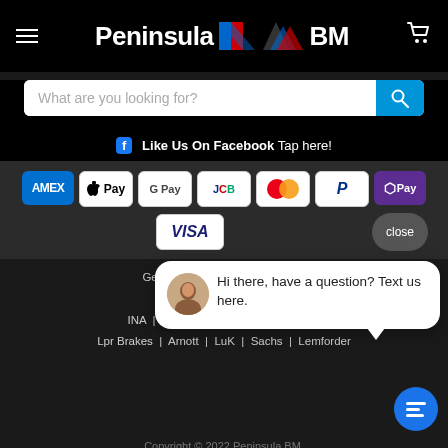[Figure (screenshot): Peninsula BM website screenshot showing header with logo, search bar, Facebook link, payment icons, chat bubble, and footer brands]
Peninsula BM - header with hamburger menu, logo, and cart icon
What are you looking for?
Like Us On Facebook  Tap here!
AMEX | Apple Pay | G Pay | JCB | Mastercard | PayPal | O Pay | VISA | close
Genuine BMW | URO Parts | B | BOSCH | Jahn | INA | TEXTAR | Lpr Brakes | Arnott | LuK | Sachs | Lemforder
Hi there, have a question? Text us here.
Copyright © 2022 Peninsula BM.
Powered by Shopify